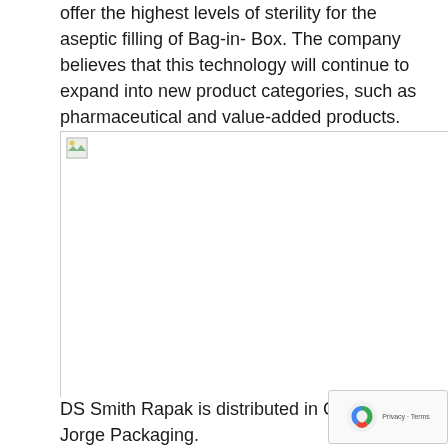offer the highest levels of sterility for the aseptic filling of Bag-in- Box. The company believes that this technology will continue to expand into new product categories, such as pharmaceutical and value-added products.
[Figure (photo): A partially loaded or broken image placeholder in the top-left corner of a large white image area, cropped on the right side.]
DS Smith Rapak is distributed in Chile by San Jorge Packaging.